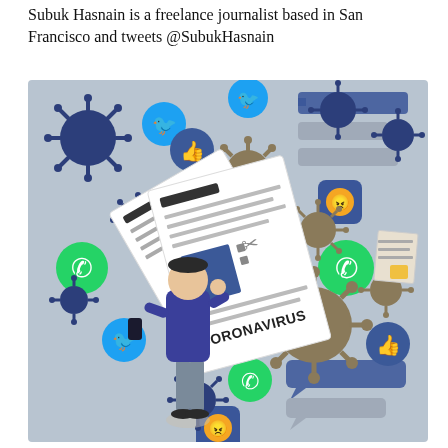Subuk Hasnain is a freelance journalist based in San Francisco and tweets @SubukHasnain
[Figure (illustration): Illustration of a person surrounded by social media icons (Twitter birds, Facebook thumbs-up likes, WhatsApp logos), coronavirus/COVID-19 virus particles, chat bubbles, and a newspaper with 'CORONAVIRUS' text, on a grey-blue background. Represents the spread of coronavirus misinformation on social media.]